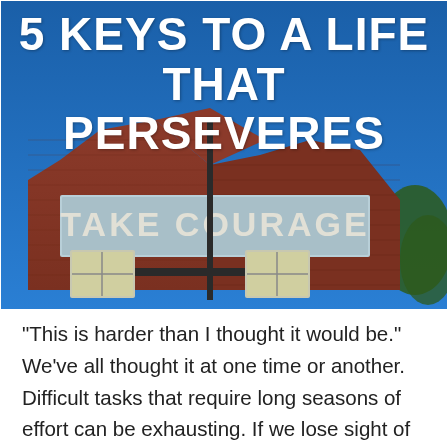[Figure (photo): A brick building with a large sign reading 'TAKE COURAGE', photographed against a bright blue sky. The title '5 KEYS TO A LIFE THAT PERSEVERES' is overlaid in large white bold text at the top of the image.]
“This is harder than I thought it would be.” We’ve all thought it at one time or another. Difficult tasks that require long seasons of effort can be exhausting. If we lose sight of the goal, we can face discouragement, depression or burnout. Many will veer off course before reaching the finish line. If we are going to persevere, we need to